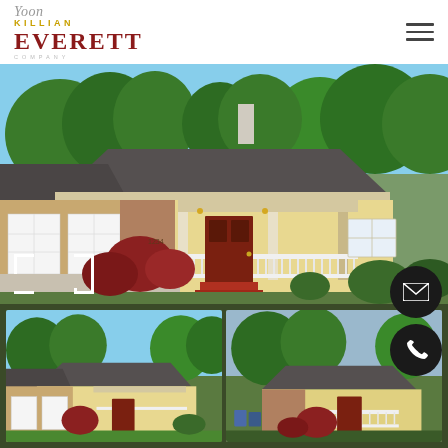[Figure (logo): Killian Everett Company real estate logo with script text 'Yoon' above, 'KILLIAN' in gold, 'EVERETT' in dark red serif, 'COMPANY' in small gray capitals]
[Figure (photo): Main hero photo of a single-story ranch house with a covered front porch, white railing, red steps, two-car garage on left, brick exterior, lush green trees in background, Japanese maple shrubs in front landscaping]
[Figure (photo): Left thumbnail: full front view of the same ranch house from the street, showing the garage, porch, and green lawn]
[Figure (photo): Right thumbnail: close-up view of the front porch entry area with red steps and white railing]